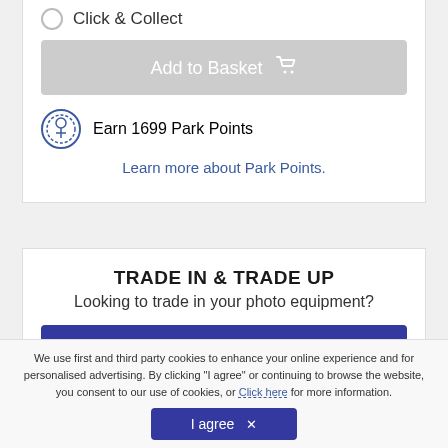Click & Collect
Add to Basket
Earn 1699 Park Points
Learn more about Park Points.
TRADE IN & TRADE UP
Looking to trade in your photo equipment?
Get a quote now!
We use first and third party cookies to enhance your online experience and for personalised advertising. By clicking “I agree” or continuing to browse the website, you consent to our use of cookies, or Click here for more information.
I agree ×